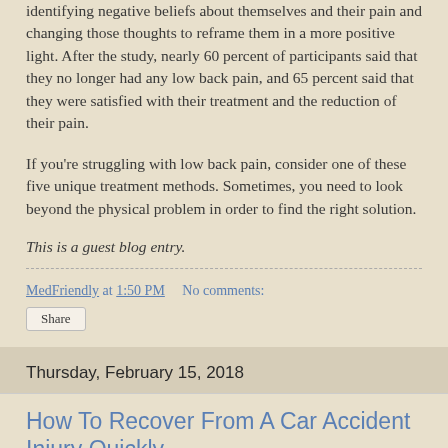identifying negative beliefs about themselves and their pain and changing those thoughts to reframe them in a more positive light. After the study, nearly 60 percent of participants said that they no longer had any low back pain, and 65 percent said that they were satisfied with their treatment and the reduction of their pain.
If you're struggling with low back pain, consider one of these five unique treatment methods. Sometimes, you need to look beyond the physical problem in order to find the right solution.
This is a guest blog entry.
MedFriendly at 1:50 PM   No comments:
Share
Thursday, February 15, 2018
How To Recover From A Car Accident Injury Quickly